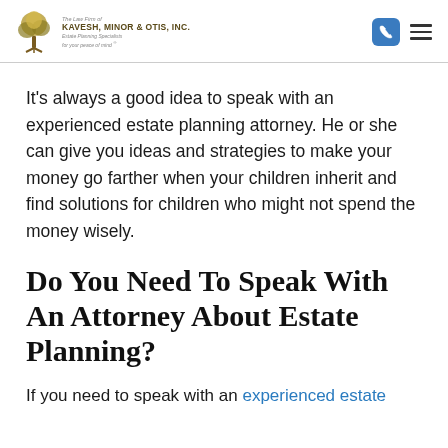The Law Firm of KAVESH, MINOR & OTIS, INC. Estate Planning Specialists for your peace of mind
It’s always a good idea to speak with an experienced estate planning attorney. He or she can give you ideas and strategies to make your money go farther when your children inherit and find solutions for children who might not spend the money wisely.
Do You Need To Speak With An Attorney About Estate Planning?
If you need to speak with an experienced estate